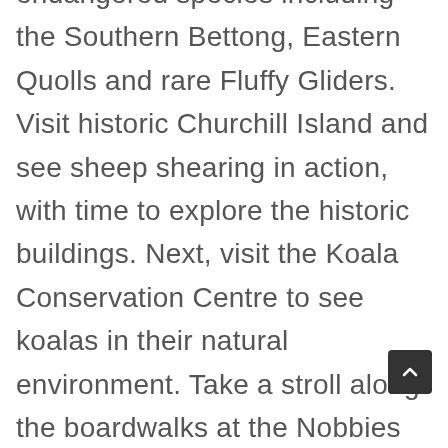endangered species including the Southern Bettong, Eastern Quolls and rare Fluffy Gliders. Visit historic Churchill Island and see sheep shearing in action, with time to explore the historic buildings. Next, visit the Koala Conservation Centre to see koalas in their natural environment. Take a stroll along the boardwalks at the Nobbies and Seal Rock Centre, before arriving at Summerland beach for the nightly penguin parade. Home to Victoria's largest colony of little penguins, Summerland beach provides a spectacular backdrop to the world famous penguin parade. Watch as hundreds of little penguins make their way across the beach and go home for the night.